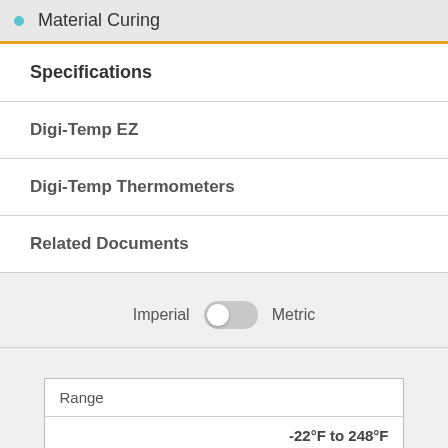Material Curing
Specifications
Digi-Temp EZ
Digi-Temp Thermometers
Related Documents
Imperial  Metric
| Range |  |
| --- | --- |
|  | -22°F to 248°F |